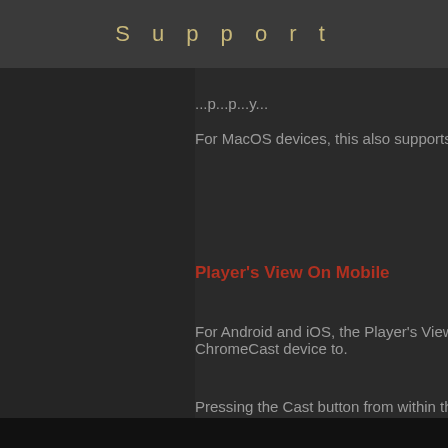Support
For MacOS devices, this also supports se...
Player's View On Mobile
For Android and iOS, the Player's View is ... ChromeCast device to.
Pressing the Cast button from within the D... Player's View will be cast to the display it i...